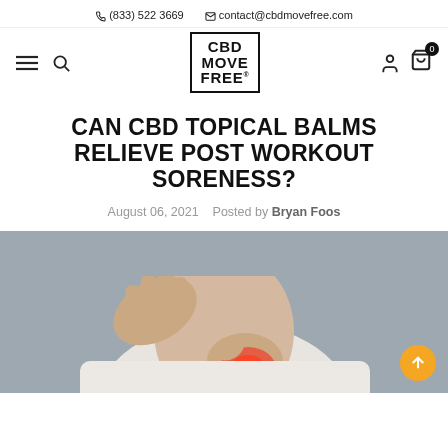(833) 522 3669   contact@cbdmovefree.com
[Figure (logo): CBD Move Free logo in a bordered box with block text]
CAN CBD TOPICAL BALMS RELIEVE POST WORKOUT SORENESS?
August 06, 2021   Posted by Bryan Foos
[Figure (photo): Person in white shirt rubbing a red, inflamed wrist against a grey background, with a yellow scroll-up button in the bottom right corner]